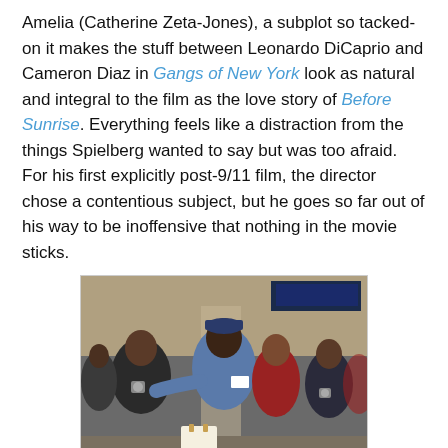Amelia (Catherine Zeta-Jones), a subplot so tacked-on it makes the stuff between Leonardo DiCaprio and Cameron Diaz in Gangs of New York look as natural and integral to the film as the love story of Before Sunrise. Everything feels like a distraction from the things Spielberg wanted to say but was too afraid. For his first explicitly post-9/11 film, the director chose a contentious subject, but he goes so far out of his way to be inoffensive that nothing in the movie sticks.
[Figure (photo): Movie still from The Terminal showing several people including a man in a blue uniform with a name badge, a woman in red, and security officers, standing together in what appears to be an airport terminal.]
As previously stated, the giant set of The Terminal pays homage to Jacques Tati and his masterpiece (and one of the greatest of all films), Playtime. By setting his film in an